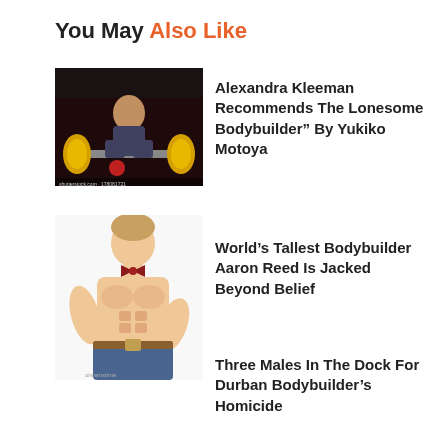You May Also Like
[Figure (photo): A bodybuilder lifting weights in a dark gym with barbell and yellow weight plates]
Alexandra Kleeman Recommends The Lonesome Bodybuilder” By Yukiko Motoya
[Figure (photo): A tall muscular young man with a red bow tie, shirtless, wearing jeans with a belt]
World’s Tallest Bodybuilder Aaron Reed Is Jacked Beyond Belief
Three Males In The Dock For Durban Bodybuilder’s Homicide